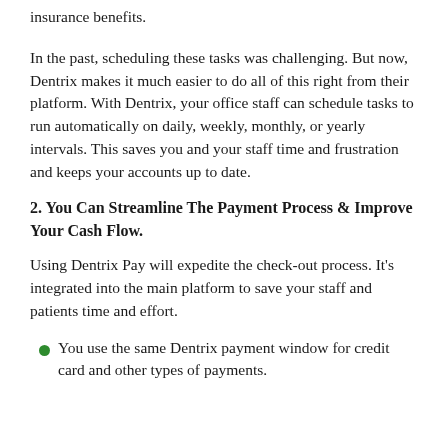insurance benefits.
In the past, scheduling these tasks was challenging. But now, Dentrix makes it much easier to do all of this right from their platform. With Dentrix, your office staff can schedule tasks to run automatically on daily, weekly, monthly, or yearly intervals. This saves you and your staff time and frustration and keeps your accounts up to date.
2. You Can Streamline The Payment Process & Improve Your Cash Flow.
Using Dentrix Pay will expedite the check-out process. It's integrated into the main platform to save your staff and patients time and effort.
You use the same Dentrix payment window for credit card and other types of payments.